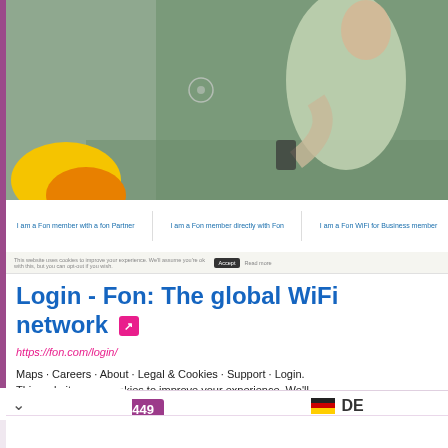[Figure (screenshot): Screenshot of Fon login page showing a woman using a smartphone, with navigation tabs: 'I am a Fon member with a fon Partner', 'I am a Fon member directly with Fon', 'I am a Fon WiFi for Business member', and a cookie consent bar.]
Login - Fon: The global WiFi network
https://fon.com/login/
Maps · Careers · About · Legal & Cookies · Support · Login. This website uses cookies to improve your experience. We'll assume you're ok with this, but you can... ...
689,449 Pageviews
DE Top Country